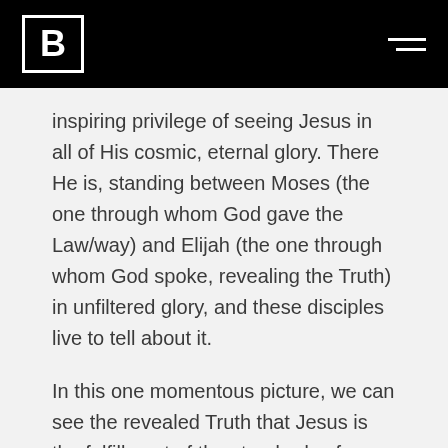B [logo / hamburger menu]
inspiring privilege of seeing Jesus in all of His cosmic, eternal glory. There He is, standing between Moses (the one through whom God gave the Law/way) and Elijah (the one through whom God spoke, revealing the Truth) in unfiltered glory, and these disciples live to tell about it.
In this one momentous picture, we can see the revealed Truth that Jesus is the fulfillment of the standards of God’s law which we could never live up to, and He is the